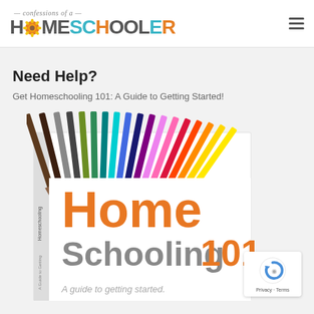confessions of a HOMESCHOOLER
Need Help?
Get Homeschooling 101: A Guide to Getting Started!
[Figure (photo): Book cover of Homeschooling 101: A Guide to Getting Started, showing colorful pencils arranged in a fan across the top of the book cover with text 'Home Schooling 101 A guide to getting started.']